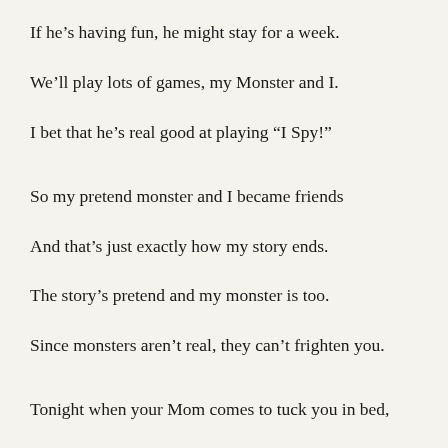If he’s having fun, he might stay for a week.
We’ll play lots of games, my Monster and I.
I bet that he’s real good at playing “I Spy!”
So my pretend monster and I became friends
And that’s just exactly how my story ends.
The story’s pretend and my monster is too.
Since monsters aren’t real, they can’t frighten you.
Tonight when your Mom comes to tuck you in bed,
Look right in your closet, remember I said,
“Monsters aren’t real, they’re not anywhere,